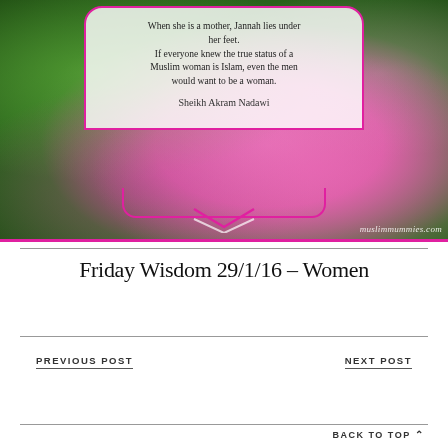[Figure (photo): Floral photo of pink hydrangea flowers with green leaves background. Overlaid is a white semi-transparent quote box with pink border containing a quote about Muslim women attributed to Sheikh Akram Nadawi. Watermark reads 'muslimmummies.com'. Pink horizontal line at bottom of image.]
Friday Wisdom 29/1/16 – Women
PREVIOUS POST
NEXT POST
BACK TO TOP ∧